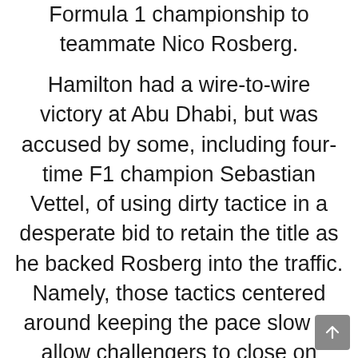Formula 1 championship to teammate Nico Rosberg.
Hamilton had a wire-to-wire victory at Abu Dhabi, but was accused by some, including four-time F1 champion Sebastian Vettel, of using dirty tactice in a desperate bid to retain the title as he backed Rosberg into the traffic. Namely, those tactics centered around keeping the pace slow to allow challengers to close on Rosberg late.